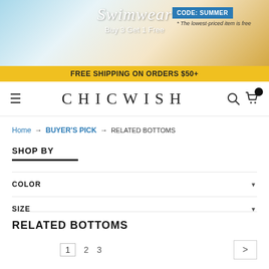[Figure (screenshot): Chicwish website banner: Swimwear Buy 3 Get 1 Free promotion with beach background, CODE: SUMMER badge, and free shipping on orders $50+ yellow bar]
CHICWISH
Home → BUYER'S PICK → RELATED BOTTOMS
SHOP BY
COLOR
SIZE
RELATED BOTTOMS
1  2  3  >